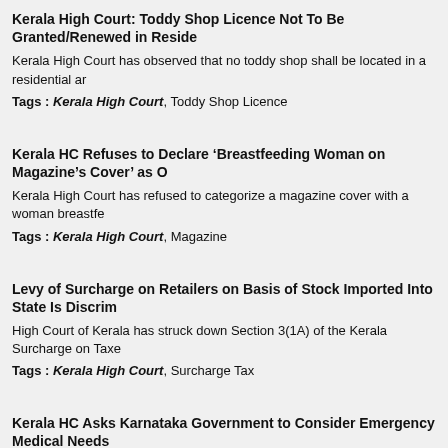Kerala High Court: Toddy Shop Licence Not To Be Granted/Renewed in Reside
Kerala High Court has observed that no toddy shop shall be located in a residential ar
Tags : Kerala High Court, Toddy Shop Licence
Kerala HC Refuses to Declare ‘Breastfeeding Woman on Magazine’s Cover’ as O
Kerala High Court has refused to categorize a magazine cover with a woman breastfe
Tags : Kerala High Court, Magazine
Levy of Surcharge on Retailers on Basis of Stock Imported Into State Is Discrim
High Court of Kerala has struck down Section 3(1A) of the Kerala Surcharge on Taxe
Tags : Kerala High Court, Surcharge Tax
Kerala HC Asks Karnataka Government to Consider Emergency Medical Needs
Kerala High Court has asked the Karnataka Government if the emergency medical ne